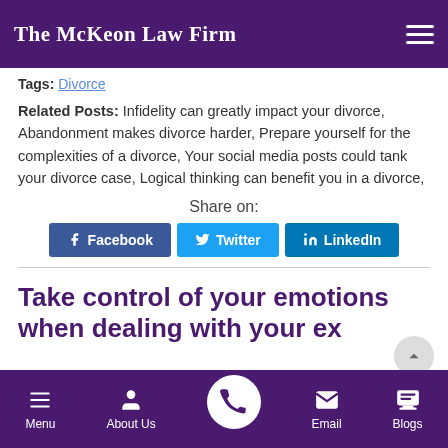The McKeon Law Firm
Tags: Divorce
Related Posts: Infidelity can greatly impact your divorce, Abandonment makes divorce harder, Prepare yourself for the complexities of a divorce, Your social media posts could tank your divorce case, Logical thinking can benefit you in a divorce,
Share on:
Facebook  Twitter  LinkedIn
Take control of your emotions when dealing with your ex
Menu  About Us  [phone]  Email  Blogs